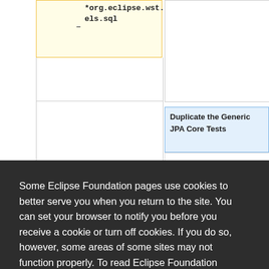[Figure (screenshot): Background UI showing a table/tree view with a yellow-highlighted node labeled '*org.eclipse.wst.rdb.models.sql' in the left column and a blue-highlighted node labeled 'Duplicate the Generic JPA Core Tests' in the right column, with plus and minus expand/collapse buttons.]
Some Eclipse Foundation pages use cookies to better serve you when you return to the site. You can set your browser to notify you before you receive a cookie or turn off cookies. If you do so, however, some areas of some sites may not function properly. To read Eclipse Foundation Privacy Policy click here.